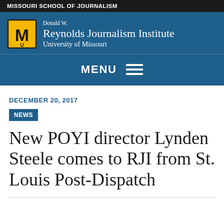MISSOURI SCHOOL OF JOURNALISM
[Figure (logo): Donald W. Reynolds Journalism Institute, University of Missouri logo with MU tiger head emblem]
MENU
DECEMBER 20, 2017
NEWS
New POYI director Lynden Steele comes to RJI from St. Louis Post-Dispatch